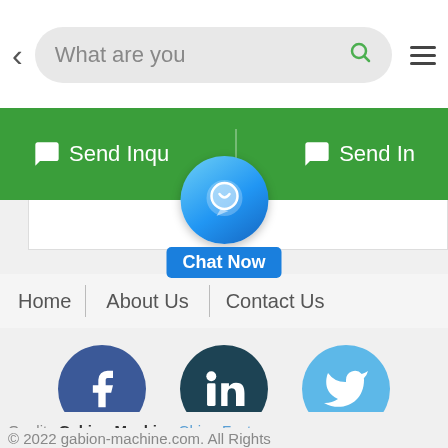[Figure (screenshot): Mobile browser top navigation bar with back arrow, search box showing 'What are you', search icon, and hamburger menu icon]
[Figure (screenshot): Green 'Send Inquiry' buttons bar partially visible]
[Figure (screenshot): Blue chat bubble 'Chat Now' floating button overlay]
Home | About Us | Contact Us
[Figure (screenshot): Social media icons: Facebook, LinkedIn, Twitter]
Quality Gabion Machine China Factory © 2022 gabion-machine.com. All Rights